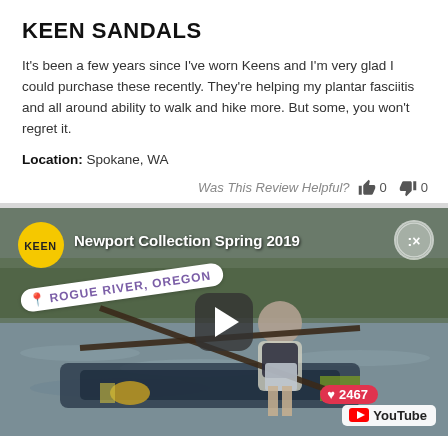KEEN SANDALS
It's been a few years since I've worn Keens and I'm very glad I could purchase these recently. They're helping my plantar fasciitis and all around ability to walk and hike more. But some, you won't regret it.
Location: Spokane, WA
Was This Review Helpful? 👍 0 👎 0
[Figure (screenshot): YouTube video thumbnail for Newport Collection Spring 2019 by KEEN, showing a man rowing on Rogue River, Oregon with 2467 likes. Play button overlay visible with KEEN logo and YouTube badge.]